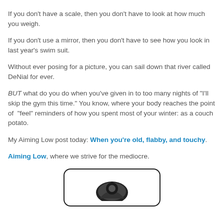If you don’t have a scale, then you don’t have to look at how much you weigh.
If you don’t use a mirror, then you don’t have to see how you look in last year’s swim suit.
Without ever posing for a picture, you can sail down that river called DeNial for ever.
BUT what do you do when you’ve given in to too many nights of “I’ll skip the gym this time.” You know, where your body reaches the point of “feel” reminders of how you spent most of your winter: as a couch potato.
My Aiming Low post today: When you’re old, flabby, and touchy.
Aiming Low, where we strive for the mediocre.
[Figure (illustration): Partial image showing a rounded rectangle with a dark graphic or logo inside, cut off at the bottom of the page.]